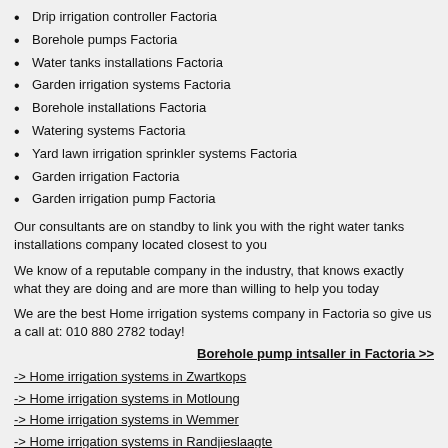Drip irrigation controller Factoria
Borehole pumps Factoria
Water tanks installations Factoria
Garden irrigation systems Factoria
Borehole installations Factoria
Watering systems Factoria
Yard lawn irrigation sprinkler systems Factoria
Garden irrigation Factoria
Garden irrigation pump Factoria
Our consultants are on standby to link you with the right water tanks installations company located closest to you
We know of a reputable company in the industry, that knows exactly what they are doing and are more than willing to help you today
We are the best Home irrigation systems company in Factoria so give us a call at: 010 880 2782 today!
Borehole pump intsaller in Factoria >>
-> Home irrigation systems in Zwartkops
-> Home irrigation systems in Motloung
-> Home irrigation systems in Wemmer
-> Home irrigation systems in Randjieslaagte
-> Home irrigation systems in Randfontein
-> Home irrigation systems in Reroilei